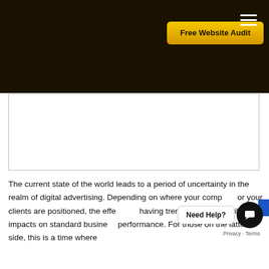Free Website Audit
[Figure (screenshot): White content area / embedded image placeholder with border]
The current state of the world leads to a period of uncertainty in the realm of digital advertising. Depending on where your company or your clients are positioned, the effec[t is] e[ither] having tremendous or horrible impacts on standard business performance. For those on the latter side, this is a time where